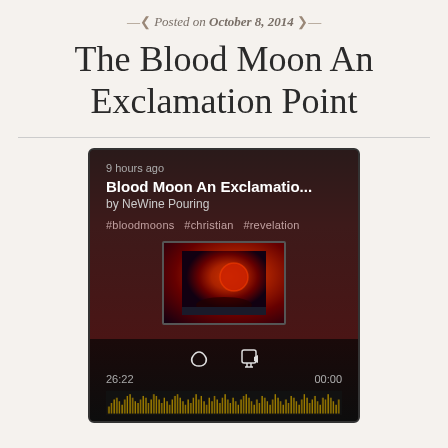Posted on October 8, 2014
The Blood Moon An Exclamation Point
[Figure (screenshot): Mobile podcast/audio app screenshot showing a track titled 'Blood Moon An Exclamatio...' by NeWine Pouring, posted 9 hours ago, with hashtags #bloodmoons #christian #revelation, a thumbnail of a blood moon image, heart and share icons, time display 26:22 / 00:00, and a waveform at the bottom.]